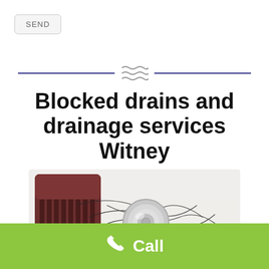SEND
Blocked drains and drainage services Witney
[Figure (photo): A dark brown hair comb next to a silver drain stopper with loose hair strands scattered around both objects on a white surface]
Call